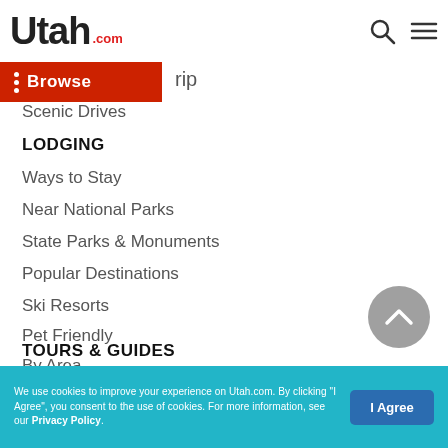Utah.com — Browse navigation header
rip
Scenic Drives
LODGING
Ways to Stay
Near National Parks
State Parks & Monuments
Popular Destinations
Ski Resorts
Pet Friendly
By Area
RV Rentals
TOURS & GUIDES
We use cookies to improve your experience on Utah.com. By clicking "I Agree", you consent to the use of cookies. For more information, see our Privacy Policy.